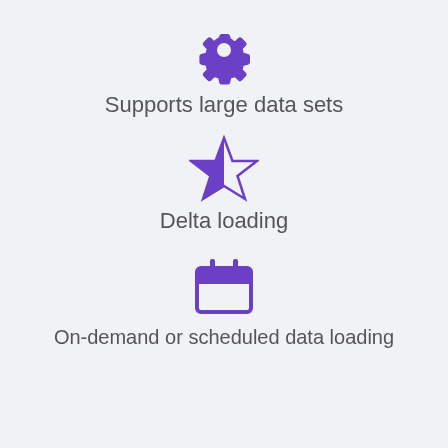[Figure (illustration): Purple gear/settings icon]
Supports large data sets
[Figure (illustration): Purple half-filled star icon]
Delta loading
[Figure (illustration): Purple calendar icon]
On-demand or scheduled data loading